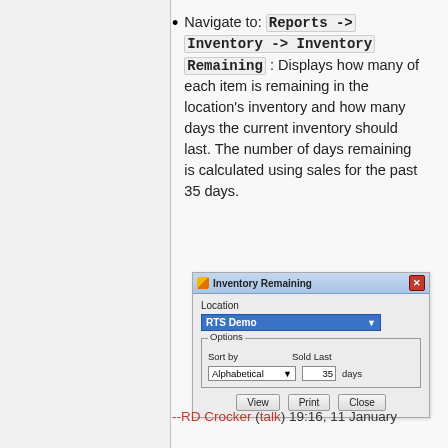Navigate to: Reports -> Inventory -> Inventory Remaining : Displays how many of each item is remaining in the location's inventory and how many days the current inventory should last. The number of days remaining is calculated using sales for the past 35 days.
[Figure (screenshot): Screenshot of 'Inventory Remaining' dialog box with Location dropdown set to 'RTS Demo', Options group with Sort by 'Alphabetical' dropdown and 'Sold Last 35 days' input, and View, Print, Close buttons.]
--RD Crocker (talk) 19:16, 11 January